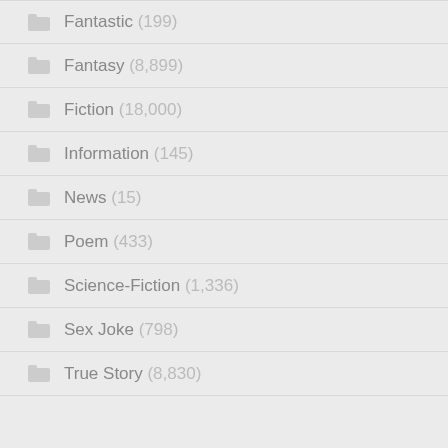Fantastic (199)
Fantasy (8,899)
Fiction (18,000)
Information (145)
News (15)
Poem (433)
Science-Fiction (1,336)
Sex Joke (798)
True Story (8,830)